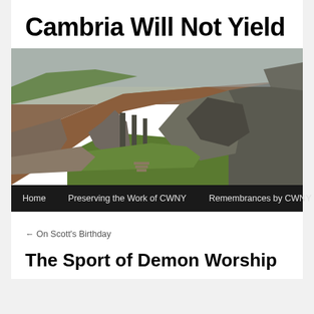Cambria Will Not Yield
[Figure (photo): Aerial or elevated view of ancient castle ruins on rocky cliffs with green valley and rolling hills in the background]
Home   Preserving the Work of CWNY   Remembrances by CWNY
← On Scott's Birthday
The Sport of Demon Worship